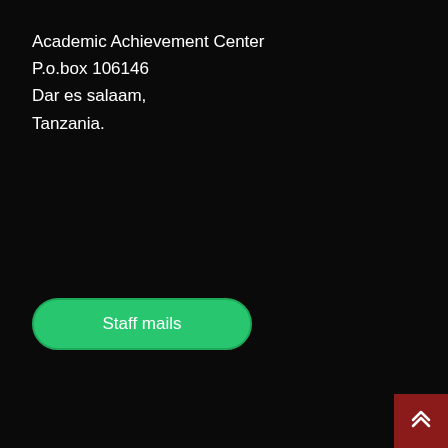Academic Achievement Center
P.o.box 106146
Dar es salaam,
Tanzania.
[Figure (other): Green rounded button labeled 'Staff mails']
[Figure (logo): Cambridge Assessment International Education - Cambridge International School logo on white background]
[Figure (other): Orange rounded button labeled 'Schoolberry']
[Figure (other): Dark red scroll-to-top button with double chevron up icon, bottom right corner]